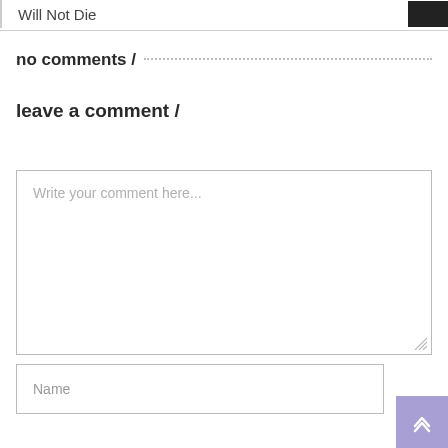Will Not Die
no comments /
leave a comment /
Write your comment here...
Name